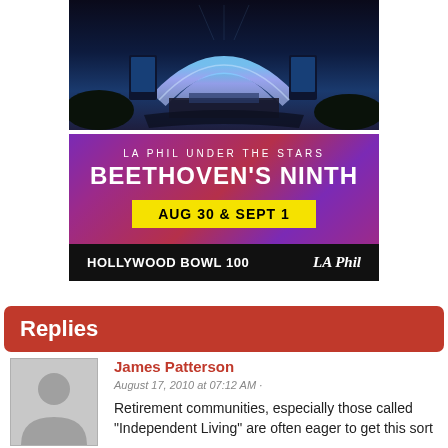[Figure (photo): Advertisement for LA Phil Under the Stars: Beethoven's Ninth at Hollywood Bowl 100, Aug 30 & Sept 1. Shows the Hollywood Bowl amphitheater at night with orchestra and purple/red gradient backdrop, Hollywood Bowl 100 and LA Phil logos.]
Replies
James Patterson
August 17, 2010 at 07:12 AM ·
Retirement communities, especially those called "Independent Living" are often eager to get this sort